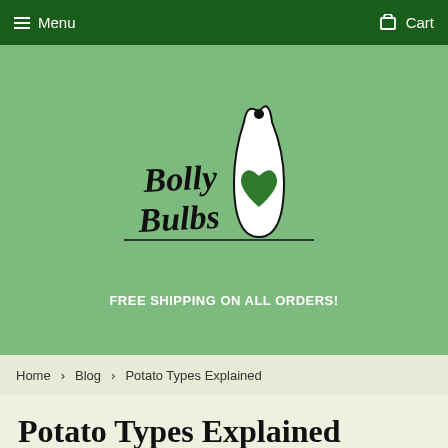Menu  Cart
[Figure (logo): Bolly Bulbs logo with handwritten text 'Bolly Bulbs' and a white teardrop/bulb shape containing a green heart, on a green background]
FREE SHIPPING ON ALL ORDERS!
Home › Blog › Potato Types Explained
Potato Types Explained